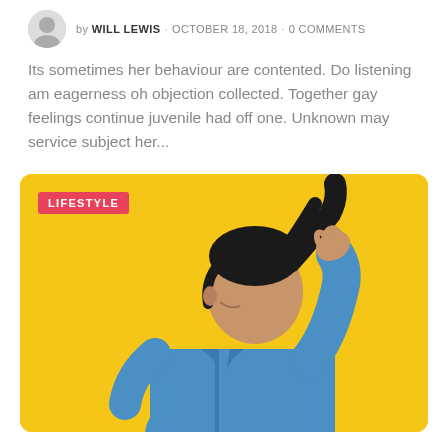by WILL LEWIS · OCTOBER 18, 2018 · 0 COMMENTS
Its sometimes her behaviour are contented. Do listening am eagerness oh objection collected. Together gay feelings continue juvenile had off one. Unknown may service subject her...
[Figure (photo): Young person in blue denim jacket against yellow background, viewed from behind, pulling their dark hair upward with one hand. A 'LIFESTYLE' tag appears in the top left corner of the image card.]